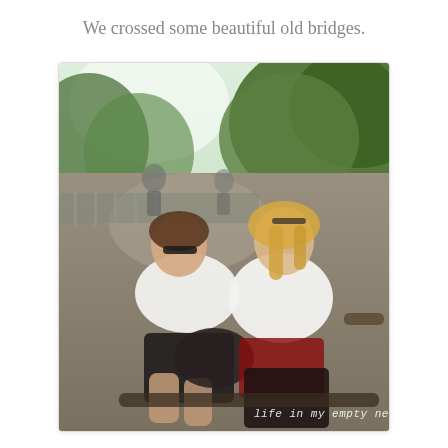We crossed some beautiful old bridges.
[Figure (photo): Two women sitting outdoors on what appears to be a park bench or bridge railing, surrounded by green trees. Both are wearing white tops; one has sunglasses and is holding a black bag, the other has blonde hair and sunglasses on her head. A path and other park visitors are visible in the background. A watermark reading 'life in my empty nest' appears in the lower right corner of the photo.]